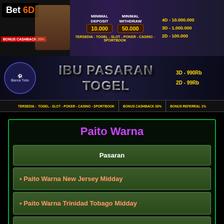[Figure (screenshot): Bet6D online gambling banner with deposit 10.000 and withdraw 50.000, bonus cashback 20%]
[Figure (screenshot): IBU Pasaran Togel banner with Barca Toto logo, 3D-990Rb and 2D-99Rb promotions]
Paito Warna
| Pasaran |
| --- |
| • Paito Warna New Jersey Midday |
| • Paito Warna Trinidad Tobago Midday |
| • Paito Warna Ohio Midday |
| • Paito Warna Georgia Midday |